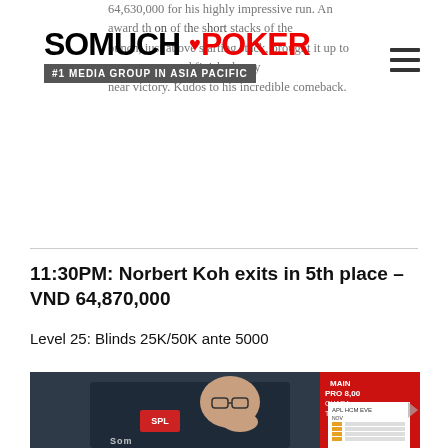SoMuchPoker – #1 Media Group in Asia Pacific
64,630,000 for his highly impressive run. An
award the short stacks of the bunch, just above starting stack, brought it up to
and finished very near victory. Kudos to his incredible comeback.
11:30PM: Norbert Koh exits in 5th place – VND 64,870,000
Level 25: Blinds 25K/50K ante 5000
[Figure (photo): Norbert Koh seated at poker table, wearing dark jacket with SPL logo, hand raised to chin in thinking pose, APL HCM tournament banner visible in background]